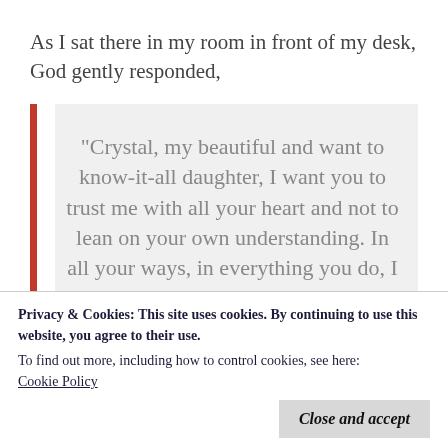As I sat there in my room in front of my desk, God gently responded,
“Crystal, my beautiful and want to know-it-all daughter, I want you to trust me with all your heart and not to lean on your own understanding. In all your ways, in everything you do, I want you to submit it all to me. Let go of what you cannot control. Allow Me to make your
Privacy & Cookies: This site uses cookies. By continuing to use this website, you agree to their use.
To find out more, including how to control cookies, see here:
Cookie Policy
Close and accept
word! He quoted Proverbs 3:5-6 to me. The